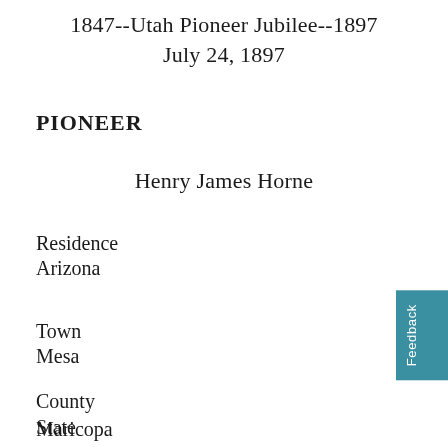1847--Utah Pioneer Jubilee--1897
July 24, 1897
PIONEER
Henry James Horne
Residence
Arizona
Town
Mesa
County
Maricopa
State